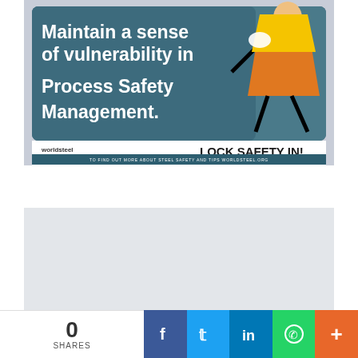[Figure (illustration): World Steel Association infographic showing a stylized figure in orange holding a yellow folder against a dark teal/blue background. White bold text reads 'Maintain a sense of vulnerability in Process Safety Management.' Bottom bar shows worldsteel ASSOCIATION logo on left and 'LOCK SAFETY IN!' in dark bold text on right, with a dark teal footer strip reading 'TO FIND OUT MORE ABOUT STEEL SAFETY AND TIPS WORLDSTEEL.ORG']
[Figure (infographic): A grey/light blue empty content area below the main infographic banner]
0 SHARES